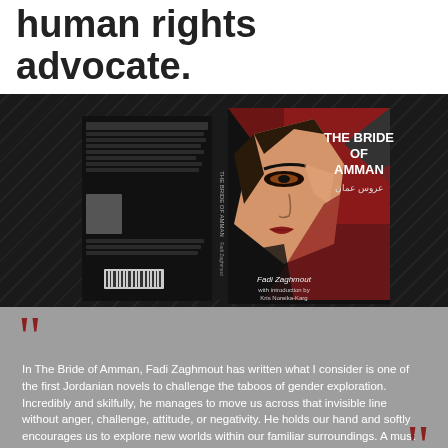human rights advocate.
[Figure (illustration): Book cover of 'The Bride of Amman' (عروس عمان) by Fadi Zaghmout, showing a stylized illustration of a woman's face in geometric art style with red and dark background, displayed against a dark background with diagonal line texture.]
In The Bride of Amman, Fadi Zaghmout has written what I consider is one of the first Jordanian novels to challenge the taboos of gender exploration. Incredibly and skilfully, he manages to move us across that invisible line without anger, challenge, attitude, or negativity. He holds our hand and softly encourages us to explore new worlds within our familiar surroundings. A must read!
- Nermeen Murad, Chief of Party of USAID Takamol Gender Program; writer, columnist, gender-, and human-rights advocate